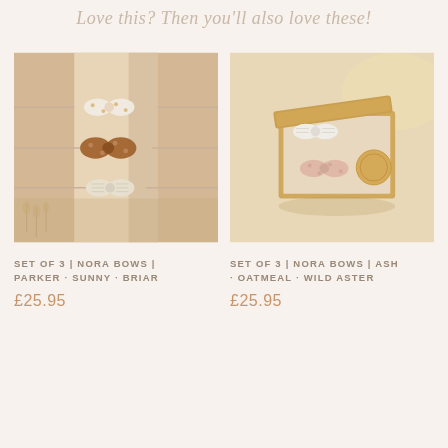Love this? Then you'll also love these!
[Figure (photo): Three nora bows on a cylindrical display stand in shades of white with yellow dots, rust/amber, and cream, with dried flowers in background]
SET OF 3 | NORA BOWS | PARKER · SUNNY · BRIAR
£25.95
[Figure (photo): Three nora bows in an open gift box with branded card, in shades of white stripe, blush pink, and cream, on beige background]
SET OF 3 | NORA BOWS | ASH · OATMEAL · WILD ASTER
£25.95